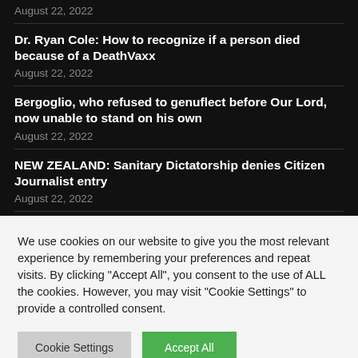August 22, 2022
Dr. Ryan Cole: How to recognize if a person died because of a DeathVaxx
August 22, 2022
Bergoglio, who refused to genuflect before Our Lord, now unable to stand on his own
August 22, 2022
NEW ZEALAND: Sanitary Dictatorship denies Citizen Journalist entry
August 22, 2022
SPAIN: The 15 year long war against the Catholic Church's
We use cookies on our website to give you the most relevant experience by remembering your preferences and repeat visits. By clicking "Accept All", you consent to the use of ALL the cookies. However, you may visit "Cookie Settings" to provide a controlled consent.
Cookie Settings | Accept All